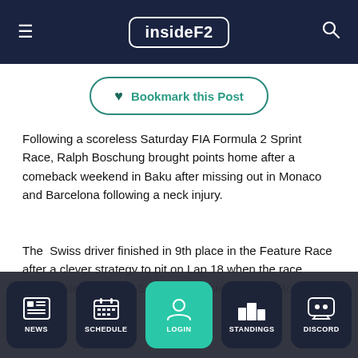insideF2
Bookmark this Post
Following a scoreless Saturday FIA Formula 2 Sprint Race, Ralph Boschung brought points home after a comeback weekend in Baku after missing out in Monaco and Barcelona following a neck injury.
The Swiss driver finished in 9th place in the Feature Race after a clever strategy to pit on Lap 18 when the race director deployed the Safety Car, which allowed Boschung
NEWS  SCHEDULE  LOGIN  STANDINGS  DISCORD